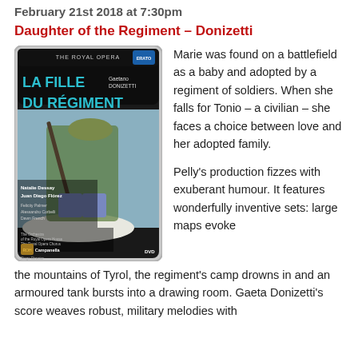February 21st 2018 at 7:30pm
Daughter of the Regiment – Donizetti
[Figure (photo): DVD cover of La Fille du Régiment by Gaetano Donizetti, The Royal Opera. Features Natalie Dessay, Juan Diego Flórez, Felicity Palmer, Alessandro Corbelli, Dawn French. Orchestra of the Royal Opera House, The Royal Opera Chorus, Bruno Campanella. Stage Director Laurent Pelly.]
Marie was found on a battlefield as a baby and adopted by a regiment of soldiers. When she falls for Tonio – a civilian – she faces a choice between love and her adopted family.

Pelly's production fizzes with exuberant humour. It features wonderfully inventive sets: large maps evoke the mountains of Tyrol, the regiment's camp drowns in and an armoured tank bursts into a drawing room. Gaeta Donizetti's score weaves robust, military melodies with